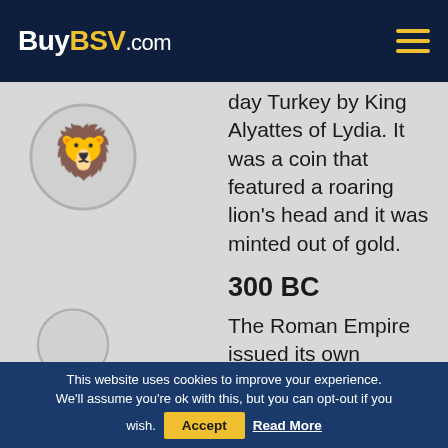BuyBSV.com
[Figure (logo): BuyBSV lion logo circle icon, grey, top left of content area]
day Turkey by King Alyattes of Lydia. It was a coin that featured a roaring lion's head and it was minted out of gold.
300 BC
The Roman Empire issued its own currency called Denarius. These
[Figure (logo): BuyBSV lion logo circle icon, grey, partially visible bottom left]
This website uses cookies to improve your experience. We'll assume you're ok with this, but you can opt-out if you wish.